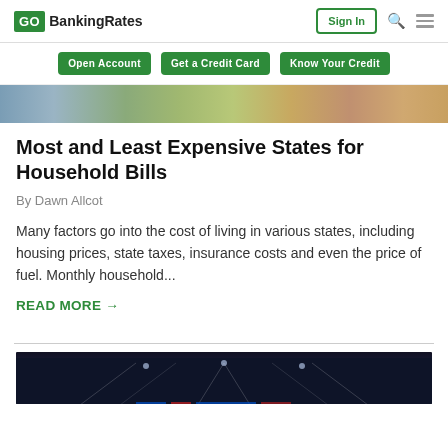GO BankingRates
[Figure (screenshot): Navigation bar with Open Account, Get a Credit Card, Know Your Credit buttons]
[Figure (photo): Colorful row of buildings hero image strip]
Most and Least Expensive States for Household Bills
By Dawn Allcot
Many factors go into the cost of living in various states, including housing prices, state taxes, insurance costs and even the price of fuel. Monthly household...
READ MORE →
[Figure (photo): Stadium interior with lights at night, bottom of page]